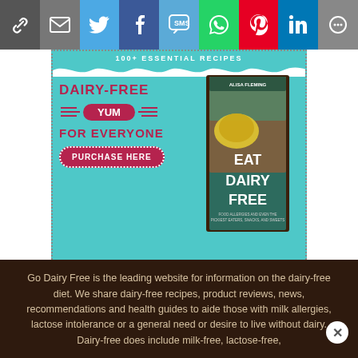[Figure (infographic): Social sharing toolbar with 9 buttons: link/copy, email, Twitter, Facebook, SMS, WhatsApp, Pinterest, LinkedIn, More]
[Figure (illustration): Advertisement banner for 'Eat Dairy Free' cookbook by Alisa Fleming. Teal background with wavy border, text reads '100+ Essential Recipes', 'Dairy-Free Yum For Everyone', 'Purchase Here' button, and book cover image on right.]
Go Dairy Free is the leading website for information on the dairy-free diet. We share dairy-free recipes, product reviews, news, recommendations and health guides to aide those with milk allergies, lactose intolerance or a general need or desire to live without dairy. Dairy-free does include milk-free, lactose-free,